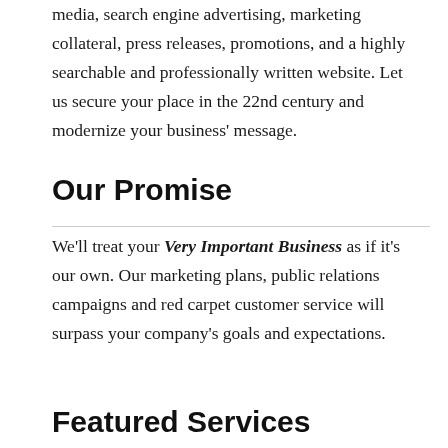media, search engine advertising, marketing collateral, press releases, promotions, and a highly searchable and professionally written website. Let us secure your place in the 22nd century and modernize your business' message.
Our Promise
We'll treat your Very Important Business as if it's our own. Our marketing plans, public relations campaigns and red carpet customer service will surpass your company's goals and expectations.
Featured Services